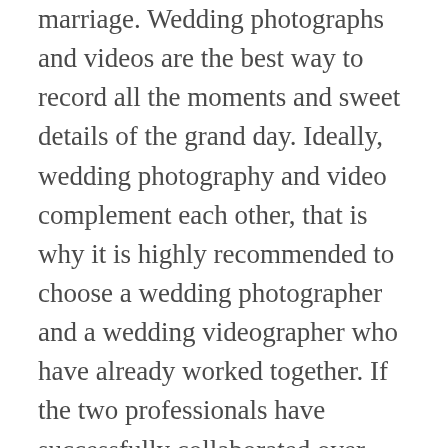marriage. Wedding photographs and videos are the best way to record all the moments and sweet details of the grand day. Ideally, wedding photography and video complement each other, that is why it is highly recommended to choose a wedding photographer and a wedding videographer who have already worked together. If the two professionals have successfully collaborated over years, you will have the best result possible. A perfect understanding between the photographer and the videographer is essential for smooth teamwork, eventually giving you more images from the wedding, with a high level of quality and in a uniform style. In wedding photography and videography, quality is